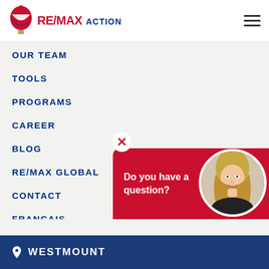[Figure (logo): RE/MAX Action logo with hot air balloon icon, red and blue text]
OUR TEAM
TOOLS
PROGRAMS
CAREER
BLOG
RE/MAX GLOBAL
CONTACT
FRANÇAIS
[Figure (photo): Chat widget with red background showing 'Do you have a question?' text and circular photo of blonde female agent]
WESTMOUNT